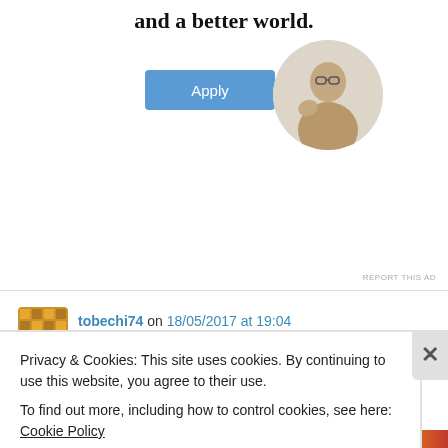and a better world.
[Figure (illustration): Apply button (blue) and circular photo of a man thinking at a desk]
REPORT THIS AD
tobechi74 on 18/05/2017 at 19:04
👍 0 👎 0 ℹ Rate This
nice blog.
Liked by 9 people
Privacy & Cookies: This site uses cookies. By continuing to use this website, you agree to their use.
To find out more, including how to control cookies, see here: Cookie Policy
Close and accept